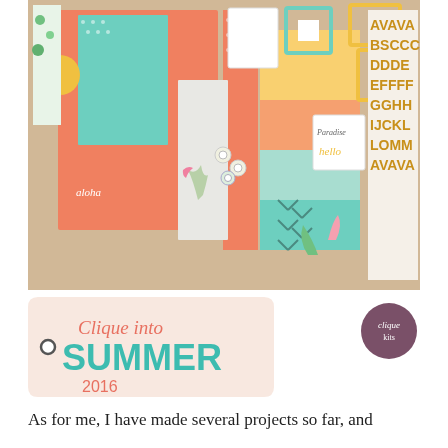[Figure (photo): Flat lay photo of a scrapbooking kit called 'Clique into Summer 2016', featuring colorful patterned papers, embellishments, stickers with flamingos and tropical motifs, letter stickers in gold glitter, and various scrapbook supplies in coral, teal, yellow, and mint colors.]
[Figure (illustration): Clique into Summer 2016 logo tag — a tag shape with 'Clique into' in coral script, 'SUMMER' in large teal bold letters, '2016' in coral below, and a small circular bullet point.]
[Figure (logo): Clique Kits circular logo in dark mauve/purple with white text 'clique kits' in script.]
As for me, I have made several projects so far, and